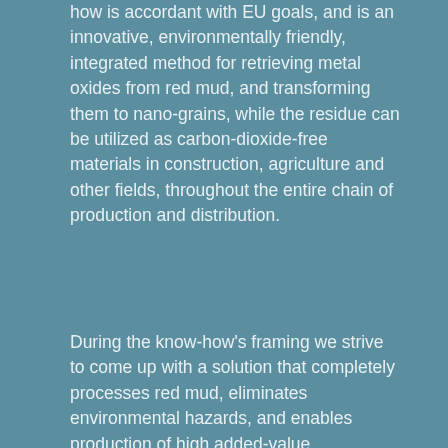how is accordant with EU goals, and is an innovative, environmentally friendly, integrated method for retrieving metal oxides from red mud, and transforming them to nano-grains, while the residue can be utilized as carbon-dioxide-free materials in construction, agriculture and other fields, throughout the entire chain of production and distribution.
During the know-how's framing we strive to come up with a solution that completely processes red mud, eliminates environmental hazards, and enables production of high added-value, sustainable products made of red mud, and that eases the EU's critical dependence on raw materials, and provides minerals for construction materials with low carbon dioxide emission.